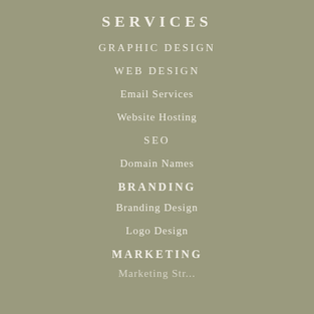SERVICES
GRAPHIC DESIGN
WEB DESIGN
Email Services
Website Hosting
SEO
Domain Names
BRANDING
Branding Design
Logo Design
MARKETING
Marketing Str...